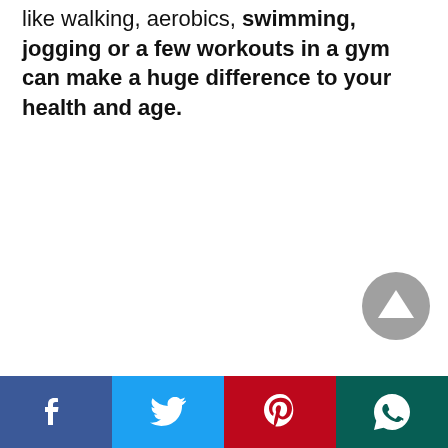like walking, aerobics, swimming, jogging or a few workouts in a gym can make a huge difference to your health and age.
[Figure (other): Gray circular scroll-to-top button with an upward-pointing triangle/arrow in the center, positioned at bottom right of the page.]
[Figure (infographic): Social sharing bar with four equal-width buttons: Facebook (dark blue with F logo), Twitter (light blue with bird logo), Pinterest (red with P logo), WhatsApp (dark teal with phone logo).]